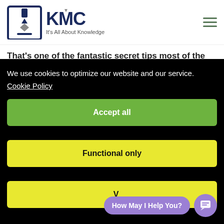[Figure (logo): KMC logo with pen/download icon in square bracket frame, text 'KMC' and tagline 'It's All About Knowledge']
That's one of the fantastic secret tips most of the
We use cookies to optimize our website and our service.
Cookie Policy
Accept all
Functional only
V
How May I Help You?